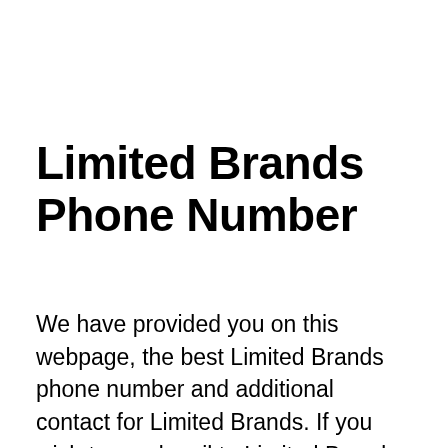Limited Brands Phone Number
We have provided you on this webpage, the best Limited Brands phone number and additional contact for Limited Brands. If you wish to send mail to Limited Brands the full address is 3 Limited Parkway, Columbus, Ohio, 43230-1467, USA.